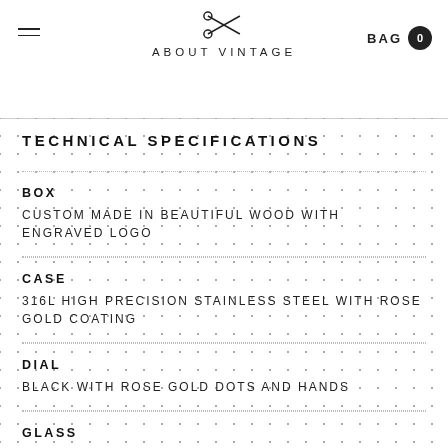ABOUT VINTAGE
TECHNICAL SPECIFICATIONS
BOX
CUSTOM MADE IN BEAUTIFUL WOOD WITH ENGRAVED LOGO
CASE
316L HIGH PRECISION STAINLESS STEEL WITH ROSE GOLD COATING
DIAL
BLACK WITH ROSE GOLD DOTS AND HANDS
GLASS
SUPER-DOMED SAPPHIRE CRYSTAL